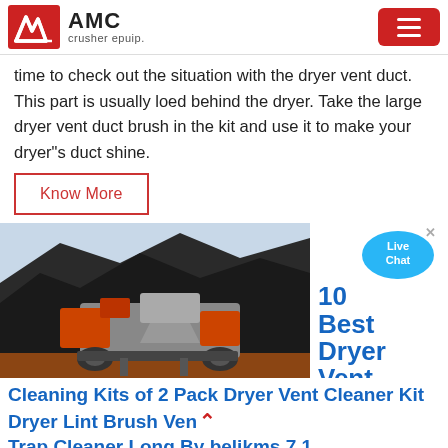AMC crusher epuip.
time to check out the situation with the dryer vent duct. This part is usually loed behind the dryer. Take the large dryer vent duct brush in the kit and use it to make your dryer"s duct shine.
Know More
[Figure (photo): Industrial crusher/mining equipment with large orange and grey machinery in front of a dark rocky mountain/ore pile background.]
[Figure (infographic): Live Chat bubble icon in blue with white text, followed by sidebar text '10 Best Dryer Vent' in large bold blue letters.]
Cleaning Kits of 2 Pack Dryer Vent Cleaner Kit Dryer Lint Brush Vent Trap Cleaner Long By belikms 7 1